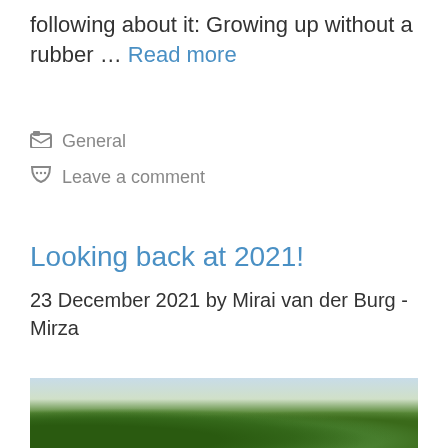following about it: Growing up without a rubber … Read more
General
Leave a comment
Looking back at 2021!
23 December 2021 by Mirai van der Burg - Mirza
[Figure (photo): Outdoor rural/farm landscape with green crops, trees, shrubs, and hilly background under a light sky]